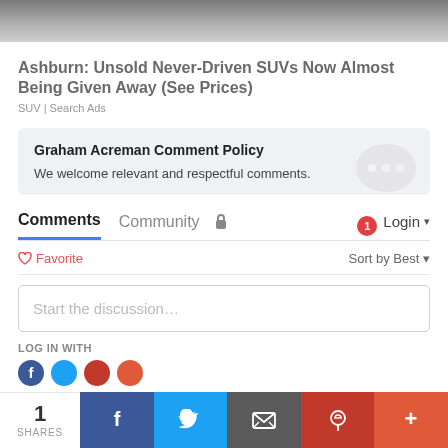[Figure (photo): Partial top of a car/SUV image, grayscale-toned, cropped at top of page]
Ashburn: Unsold Never-Driven SUVs Now Almost Being Given Away (See Prices)
SUV | Search Ads
Graham Acreman Comment Policy
We welcome relevant and respectful comments.
Comments   Community   🔒          1  Login ▾
♡ Favorite                                    Sort by Best ▾
Start the discussion…
LOG IN WITH
1
SHARES